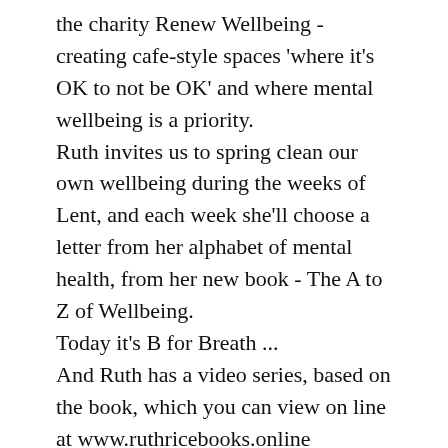the charity Renew Wellbeing - creating cafe-style spaces 'where it's OK to not be OK' and where mental wellbeing is a priority.
Ruth invites us to spring clean our own wellbeing during the weeks of Lent, and each week she'll choose a letter from her alphabet of mental health, from her new book - The A to Z of Wellbeing.
Today it's B for Breath ...
And Ruth has a video series, based on the book, which you can view on line at www.ruthricebooks.online
The videos are quite short, and a new one is posted each day.
There's some beautiful meditative music for peace, from Karl Jenkins,  Manx music from Curjin Cooidjak, and a